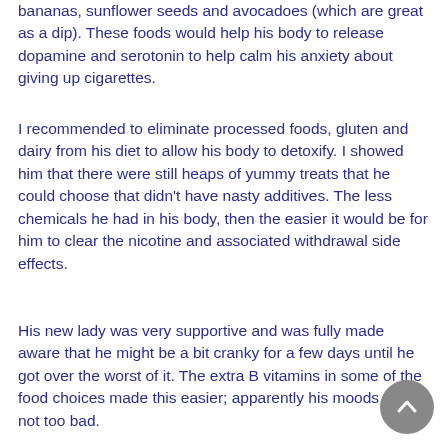bananas, sunflower seeds and avocadoes (which are great as a dip). These foods would help his body to release dopamine and serotonin to help calm his anxiety about giving up cigarettes.
I recommended to eliminate processed foods, gluten and dairy from his diet to allow his body to detoxify. I showed him that there were still heaps of yummy treats that he could choose that didn't have nasty additives. The less chemicals he had in his body, then the easier it would be for him to clear the nicotine and associated withdrawal side effects.
His new lady was very supportive and was fully made aware that he might be a bit cranky for a few days until he got over the worst of it. The extra B vitamins in some of the food choices made this easier; apparently his moods were not too bad.